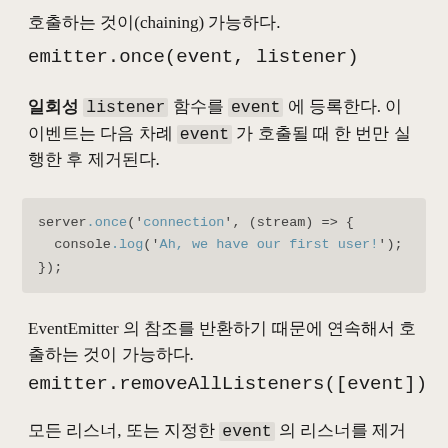호출하는 것이(chaining) 가능하다.
emitter.once(event, listener)
일회성 listener 함수를 event 에 등록한다. 이 이벤트는 다음 차례 event 가 호출될 때 한 번만 실행한 후 제거된다.
[Figure (screenshot): Code block showing: server.once('connection', (stream) => {
  console.log('Ah, we have our first user!');
});]
EventEmitter 의 참조를 반환하기 때문에 연속해서 호출하는 것이 가능하다.
emitter.removeAllListeners([event])
모든 리스너, 또는 지정한 event 의 리스너를 제거한다.